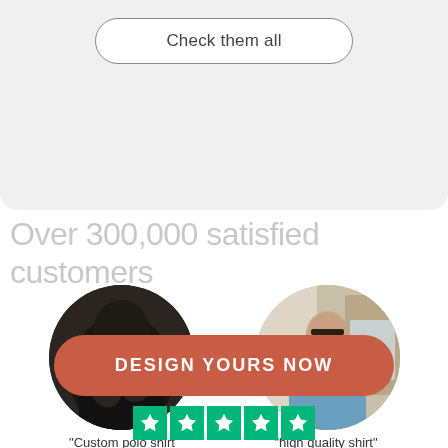[Figure (other): Rounded pill-shaped button labeled 'Check them all' on a light gray background section]
Over 300,000 satisfied customers
[Figure (photo): Circular cropped photo of a person in a dark/black outfit with arms crossed]
[Figure (photo): Circular cropped photo of a bald man with glasses wearing a light blue shirt, indoors]
"Custom polo shirt
"high quality shirt"
[Figure (other): Large rounded pill button with dark salmon/terracotta color reading 'DESIGN YOURS NOW']
[Figure (other): Trustpilot green star rating row — 5 green star squares]